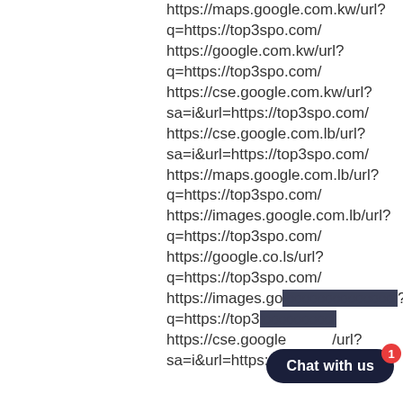https://maps.google.com.kw/url?q=https://top3spo.com/
https://google.com.kw/url?q=https://top3spo.com/
https://cse.google.com.kw/url?sa=i&url=https://top3spo.com/
https://cse.google.com.lb/url?sa=i&url=https://top3spo.com/
https://maps.google.com.lb/url?q=https://top3spo.com/
https://images.google.com.lb/url?q=https://top3spo.com/
https://google.co.ls/url?q=https://top3spo.com/
https://images.google…?q=https://top3…
https://cse.google.com.ls/url?sa=i&url=https://top3spo.com/